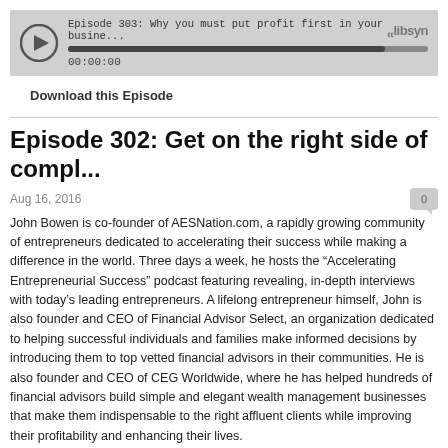[Figure (screenshot): Libsyn podcast player bar showing Episode 303: Why you must put profit first in your busine... with play button, progress bar near complete, timestamp 00:00:00 and Libsyn logo]
Download this Episode
Episode 302: Get on the right side of compl...
Aug 16, 2016
John Bowen is co-founder of AESNation.com, a rapidly growing community of entrepreneurs dedicated to accelerating their success while making a difference in the world. Three days a week, he hosts the “Accelerating Entrepreneurial Success” podcast featuring revealing, in-depth interviews with today’s leading entrepreneurs. A lifelong entrepreneur himself, John is also founder and CEO of Financial Advisor Select, an organization dedicated to helping successful individuals and families make informed decisions by introducing them to top vetted financial advisors in their communities. He is also founder and CEO of CEG Worldwide, where he has helped hundreds of financial advisors build simple and elegant wealth management businesses that make them indispensable to the right affluent clients while improving their profitability and enhancing their lives.
Secret – timesaving technique